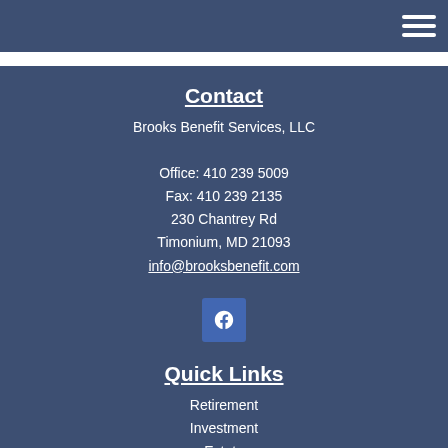Contact
Brooks Benefit Services, LLC
Office: 410 239 5009
Fax: 410 239 2135
230 Chantrey Rd
Timonium, MD 21093
info@brooksbenefit.com
[Figure (logo): Facebook icon button]
Quick Links
Retirement
Investment
Estate
Insurance
Tax